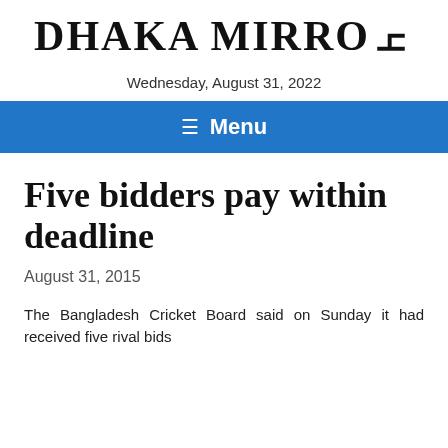DHAKA MIRROR
Wednesday, August 31, 2022
≡ Menu
Five bidders pay within deadline
August 31, 2015
The Bangladesh Cricket Board said on Sunday it had received five rival bids